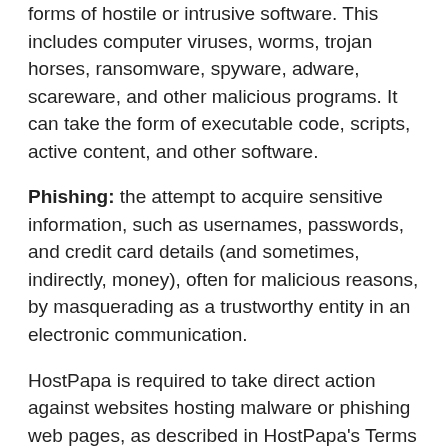forms of hostile or intrusive software. This includes computer viruses, worms, trojan horses, ransomware, spyware, adware, scareware, and other malicious programs. It can take the form of executable code, scripts, active content, and other software.
Phishing: the attempt to acquire sensitive information, such as usernames, passwords, and credit card details (and sometimes, indirectly, money), often for malicious reasons, by masquerading as a trustworthy entity in an electronic communication.
HostPapa is required to take direct action against websites hosting malware or phishing web pages, as described in HostPapa's Terms of Service – Acceptable Use Policy (Section 6). For more information, please review the terms of service for your region.
Unwanted...